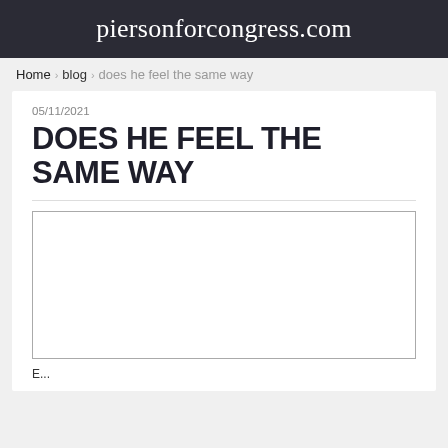piersonforcongress.com
Home › blog › does he feel the same way
05/11/2021
DOES HE FEEL THE SAME WAY
[Figure (other): Empty white rectangular image placeholder with a gray border]
E...